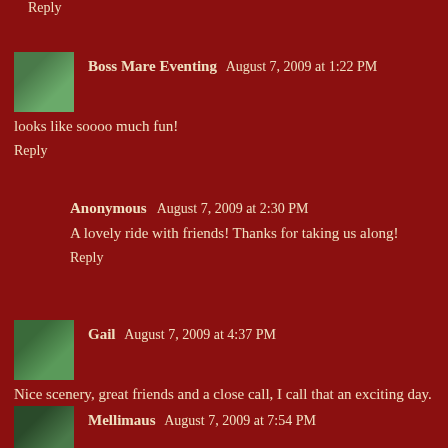Reply
Boss Mare Eventing  August 7, 2009 at 1:22 PM
looks like soooo much fun!
Reply
Anonymous  August 7, 2009 at 2:30 PM
A lovely ride with friends! Thanks for taking us along!
Reply
Gail  August 7, 2009 at 4:37 PM
Nice scenery, great friends and a close call, I call that an exciting day.
Reply
Mellimaus  August 7, 2009 at 7:54 PM